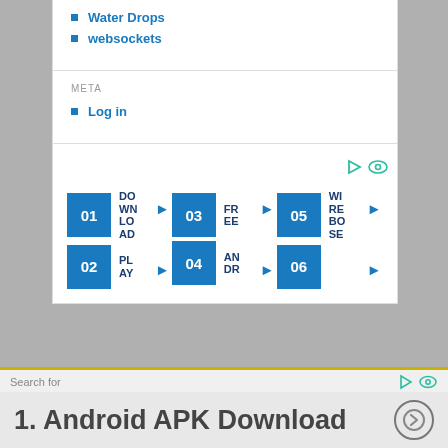Water Drops
websockets
META
Log in
[Figure (infographic): Steps widget showing 6 numbered blue boxes (01-06) with labels: DOWNLOAD, PLAY, FREE, ANDROID, WIREBOSE, each with arrow indicators and play/eye icons]
© 2010-2019 Martyn Currey and powered by WordPress   Privacy
Search for
1.  Android APK Download